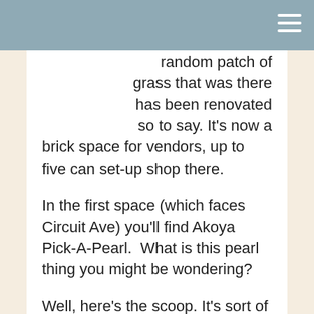random patch of grass that was there has been renovated so to say. It's now a brick space for vendors, up to five can set-up shop there.
In the first space (which faces Circuit Ave) you'll find Akoya Pick-A-Pearl.  What is this pearl thing you might be wondering?
Well, here's the scoop. It's sort of like it sounds.  The oysters are from